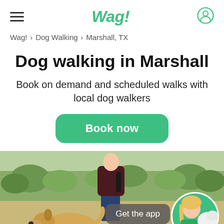Wag!
Wag! > Dog Walking > Marshall, TX
Dog walking in Marshall
Book on demand and scheduled walks with local dog walkers
Book now
[Figure (photo): Person walking a golden retriever dog outdoors with green landscape background, and a circular inset photo of a smiling woman in green Wag! shirt with a dog, plus a 'Get the app' button overlay]